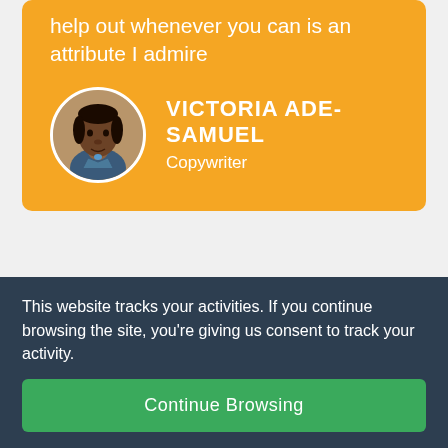help out whenever you can is an attribute I admire
[Figure (photo): Circular avatar photo of Victoria Ade-Samuel]
VICTORIA ADE-SAMUEL
Copywriter
This website tracks your activities. If you continue browsing the site, you're giving us consent to track your activity.
Continue Browsing